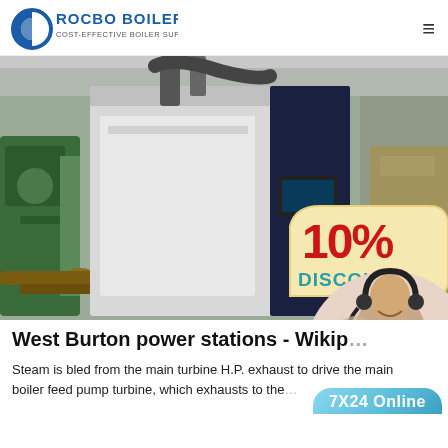[Figure (logo): Rocbo Boiler logo with circular C graphic and text 'ROCBO BOILER / COST-EFFECTIVE BOILER SUPPLIER']
[Figure (photo): Industrial boiler equipment in a factory setting with white/dark casing, pipes, and a 10% DISCOUNT badge overlay. A customer service representative avatar appears in the bottom right corner.]
West Burton power stations - Wikipedia
Steam is bled from the main turbine H.P. exhaust to drive the main boiler feed pump turbine, which exhausts to the